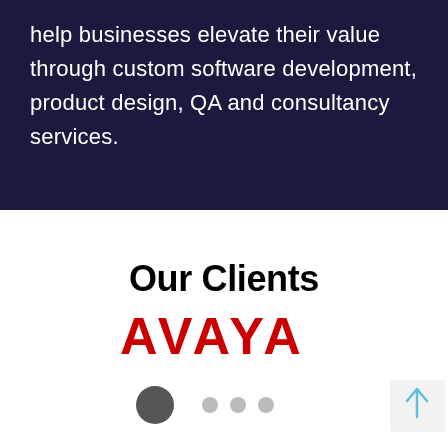help businesses elevate their value through custom software development, product design, QA and consultancy services.
Our Clients
[Figure (logo): AVAYA company logo in red bold uppercase letters]
[Figure (infographic): Carousel navigation dots: one large dark filled circle and three smaller grey dots, plus a scroll-to-top arrow button on the right]